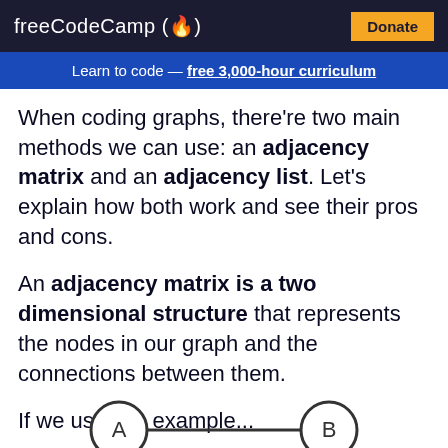freeCodeCamp(🔥)  Donate
Learn to code — free 3,000-hour curriculum
When coding graphs, there're two main methods we can use: an adjacency matrix and an adjacency list. Let's explain how both work and see their pros and cons.
An adjacency matrix is a two dimensional structure that represents the nodes in our graph and the connections between them.
If we use this example...
[Figure (illustration): A graph diagram showing two nodes labeled A and B connected by a line, partially visible at the bottom of the page.]